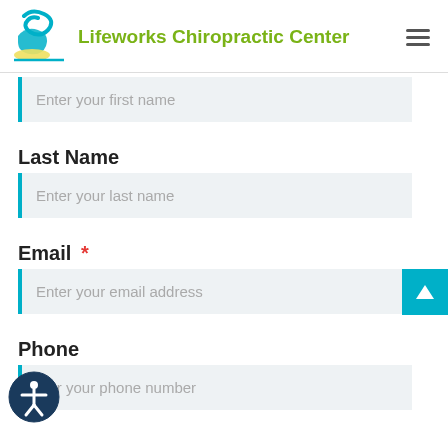Lifeworks Chiropractic Center
Enter your first name
Last Name
Enter your last name
Email *
Enter your email address
Phone
Enter your phone number